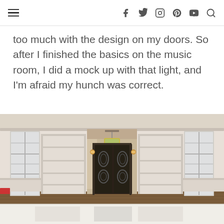Navigation header with hamburger menu and social icons: Facebook, Twitter, Instagram, Pinterest, YouTube, Search
too much with the design on my doors. So after I finished the basics on the music room, I did a mock up with that light, and I'm afraid my hunch was correct.
[Figure (photo): Interior hallway with ornate double doors featuring decorative iron scrollwork, flanked by built-in white bookshelves and glass-panel doors. A stained glass pendant light hangs from the ceiling. The reflected image is visible on a shiny white floor below.]